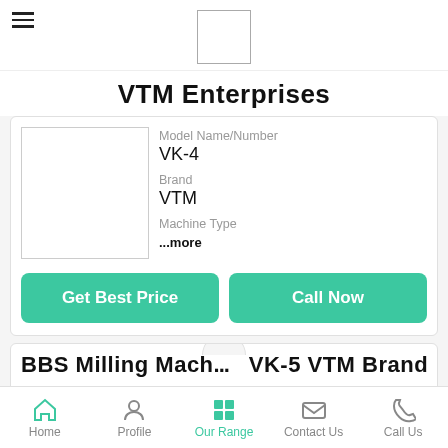VTM Enterprises
VTM Enterprises
Model Name/Number
VK-4
Brand
VTM
Machine Type
...more
Get Best Price
Call Now
BBS Milling Mach... VK-5 VTM Brand
Home  Profile  Our Range  Contact Us  Call Us